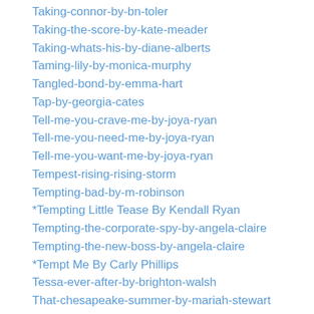Taking-connor-by-bn-toler
Taking-the-score-by-kate-meader
Taking-whats-his-by-diane-alberts
Taming-lily-by-monica-murphy
Tangled-bond-by-emma-hart
Tap-by-georgia-cates
Tell-me-you-crave-me-by-joya-ryan
Tell-me-you-need-me-by-joya-ryan
Tell-me-you-want-me-by-joya-ryan
Tempest-rising-rising-storm
Tempting-bad-by-m-robinson
*Tempting Little Tease By Kendall Ryan
Tempting-the-corporate-spy-by-angela-claire
Tempting-the-new-boss-by-angela-claire
*Tempt Me By Carly Phillips
Tessa-ever-after-by-brighton-walsh
That-chesapeake-summer-by-mariah-stewart
That-girl
That-night-one-night-stand-book-1-by-js-cooper-helen-cooper-review
*That Thing You Do By Kayti McGee
The-27-club-by-kim-karr